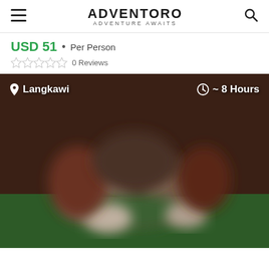ADVENTORO — ADVENTURE AWAITS
USD 51 • Per Person
0 Reviews
[Figure (photo): Blurred outdoor activity photo with green ground, showing people in a nature/adventure setting in Langkawi. Overlaid text: 'Langkawi' on left and '~ 8 Hours' on right.]